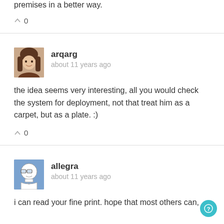premises in a better way.
^ 0
arqarg
about 11 years ago
the idea seems very interesting, all you would check the system for deployment, not that treat him as a carpet, but as a plate. :)
^ 0
allegra
about 11 years ago
i can read your fine print. hope that most others can,